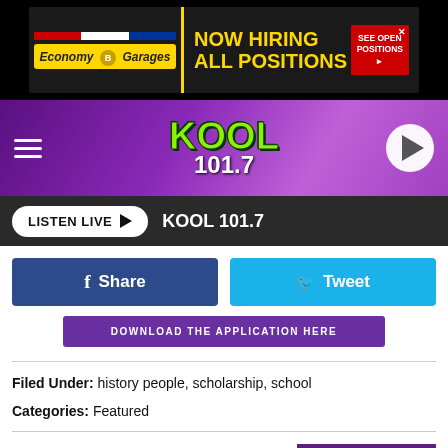[Figure (screenshot): Economy Garages advertisement banner: NOW HIRING ALL POSITIONS, SEE OPEN POSITIONS]
[Figure (screenshot): KOOL 101.7 radio station header with purple gradient background, hamburger menu, logo, and play button]
[Figure (screenshot): Listen Live button bar with KOOL 101.7 label on dark background]
[Figure (screenshot): Facebook Share button (blue) and Twitter Tweet button (light blue)]
[Figure (screenshot): Download the application here button in purple]
Filed Under: history people, scholarship, school
Categories: Featured
Comments
[Figure (screenshot): LEAVE A COMMENT button in purple]
[Figure (screenshot): Sponsored links purple bar at bottom]
[Figure (screenshot): Summer Is Approaching advertisement with AireServ logo]